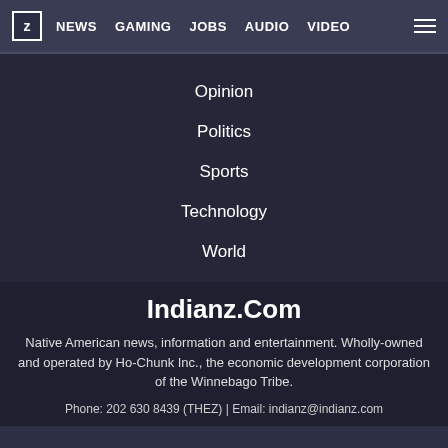NEWS  GAMING  JOBS  AUDIO  VIDEO
Opinion
Politics
Sports
Technology
World
Indianz.Com
Native American news, information and entertainment. Wholly-owned and operated by Ho-Chunk Inc., the economic development corporation of the Winnebago Tribe.
Phone: 202 630 8439 (THEZ) | Email: indianz@indianz.com